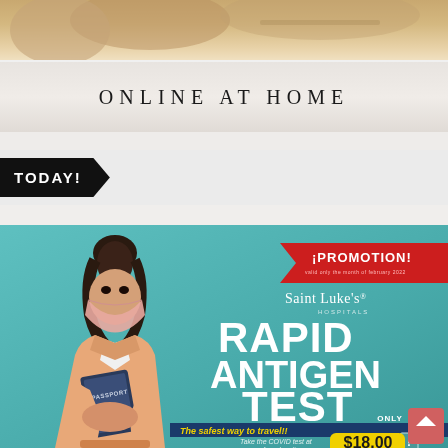[Figure (photo): Partial view of a person working on a laptop, top portion cropped – warm toned background]
ONLINE AT HOME
TODAY!
[Figure (advertisement): Saint Luke's Hospitals Rapid Antigen Test promotional advertisement. Shows a woman wearing a pink face mask and holding a passport against a teal background. Includes a red ¡PROMOTION! badge, Saint Luke's Hospitals logo, large white text reading RAPID ANTIGEN TEST, a dark blue banner reading 'The safest way to travel!!', text 'Take the COVID test at any of our locations.', an ONLY label, and a yellow price tag showing $18.00 (partially visible)]